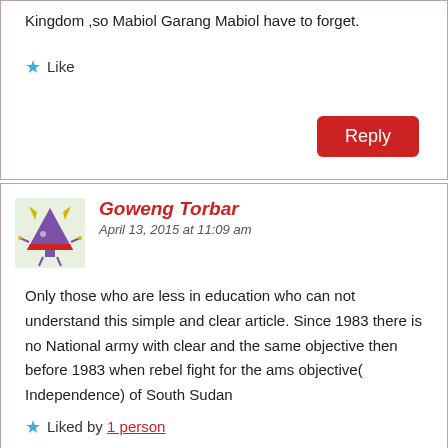Kingdom ,so Mabiol Garang Mabiol have to forget.
Like
Reply
Goweng Torbar
April 13, 2015 at 11:09 am
Only those who are less in education who can not understand this simple and clear article. Since 1983 there is no National army with clear and the same objective then before 1983 when rebel fight for the ams objective( Independence) of South Sudan
Liked by 1 person